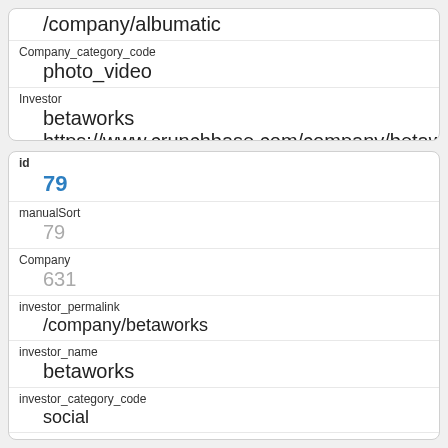|  | /company/albumatic |
| Company_category_code | photo_video |
| Investor | betaworks |
|  | https://www.crunchbase.com/company/betaworks |
| id | 79 |
| manualSort | 79 |
| Company | 631 |
| investor_permalink | /company/betaworks |
| investor_name | betaworks |
| investor_category_code | social |
| investor_country_code | USA |